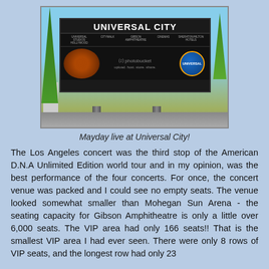[Figure (photo): Photo of the Universal City billboard sign showing 'UNIVERSAL CITY' with Gibson Amphitheatre and other venue listings. Palm trees visible. Has a Photobucket watermark overlay.]
Mayday live at Universal City!
The Los Angeles concert was the third stop of the American D.N.A Unlimited Edition world tour and in my opinion, was the best performance of the four concerts. For once, the concert venue was packed and I could see no empty seats. The venue looked somewhat smaller than Mohegan Sun Arena - the seating capacity for Gibson Amphitheatre is only a little over 6,000 seats. The VIP area had only 166 seats!! That is the smallest VIP area I had ever seen. There were only 8 rows of VIP seats, and the longest row had only 23